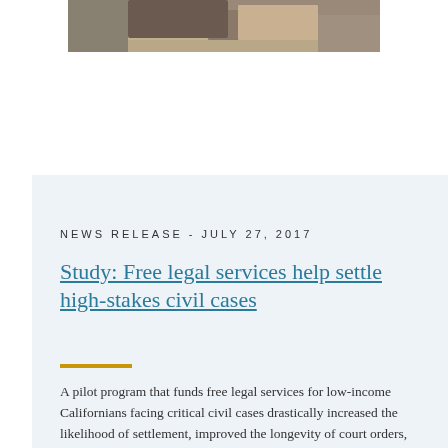[Figure (photo): Partial photo showing a person at a desk, cropped at the top of the page]
NEWS RELEASE - JULY 27, 2017
Study: Free legal services help settle high-stakes civil cases
A pilot program that funds free legal services for low-income Californians facing critical civil cases drastically increased the likelihood of settlement, improved the longevity of court orders, and reduced court costs, a new study shows.
Related: